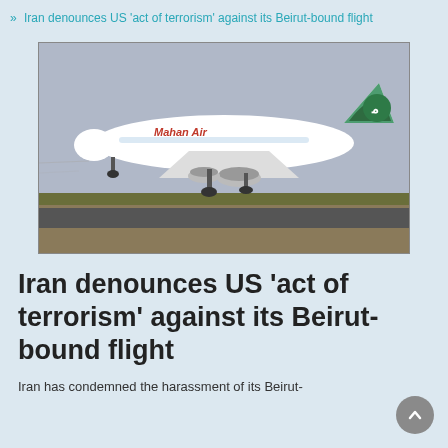Iran denounces US 'act of terrorism' against its Beirut-bound flight
[Figure (photo): A Mahan Air commercial aircraft taking off from a runway, white body with green tail logo.]
Iran denounces US 'act of terrorism' against its Beirut-bound flight
Iran has condemned the harassment of its Beirut-